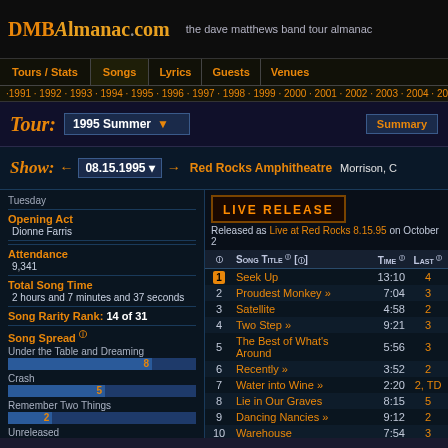DMBAlmanac.com — the dave matthews band tour almanac
Tours / Stats | Songs | Lyrics | Guests | Venues
1991 · 1992 · 1993 · 1994 · 1995 · 1996 · 1997 · 1998 · 1999 · 2000 · 2001 · 2002 · 2003 · 2004 · 20
Tour: 1995 Summer
Show: 08.15.1995 → Red Rocks Amphitheatre Morrison, C
Tuesday
Opening Act
Dionne Farris
Attendance
9,341
Total Song Time
2 hours and 7 minutes and 37 seconds
Song Rarity Rank: 14 of 31
Song Spread
Under the Table and Dreaming 8
Crash 5
Remember Two Things 2
Unreleased 1
[Figure (other): LIVE RELEASE banner box]
Released as Live at Red Rocks 8.15.95 on October 2
| # | Song Title | Time | Last |
| --- | --- | --- | --- |
| 1 | Seek Up | 13:10 | 4 |
| 2 | Proudest Monkey » | 7:04 | 3 |
| 3 | Satellite | 4:58 | 2 |
| 4 | Two Step » | 9:21 | 3 |
| 5 | The Best of What's Around | 5:56 | 3 |
| 6 | Recently » | 3:52 | 2 |
| 7 | Water into Wine » | 2:20 | 2, TD |
| 8 | Lie in Our Graves | 8:15 | 5 |
| 9 | Dancing Nancies » | 9:12 | 2 |
| 10 | Warehouse | 7:54 | 3 |
| 11 | Tripping Billies | 4:32 | 2 |
| 12 | Drive In Drive Out | 6:07 | 3 |
| 13 | Lover Lay Down | 6:09 | 3 |
| 14 | Rhyme & Reason | 6:45 | 3 |
| 15 | #36 » | 12:59 | 12 |